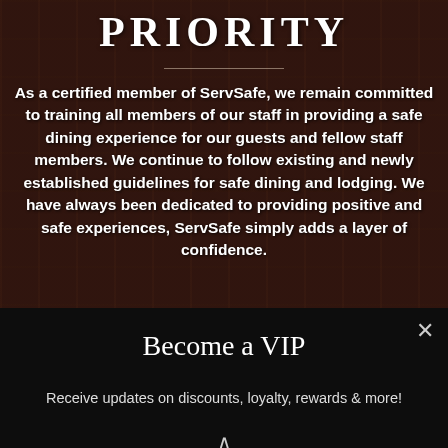PRIORITY
As a certified member of ServSafe, we remain committed to training all members of our staff in providing a safe dining experience for our guests and fellow staff members. We continue to follow existing and newly established guidelines for safe dining and lodging. We have always been dedicated to providing positive and safe experiences, ServSafe simply adds a layer of confidence.
Become a VIP
Receive updates on discounts, loyalty, rewards & more!